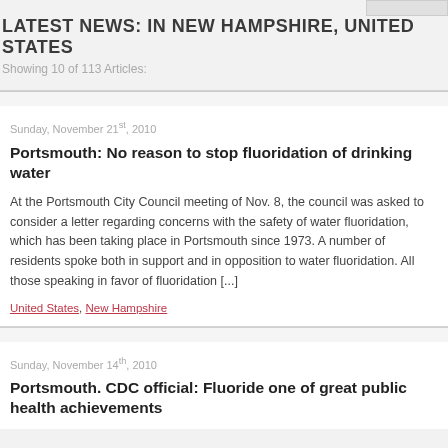LATEST NEWS: IN NEW HAMPSHIRE, UNITED STATES
Showing 10 of 113 Articles:
Sunday, November 21st, 2010
Portsmouth: No reason to stop fluoridation of drinking water
At the Portsmouth City Council meeting of Nov. 8, the council was asked to consider a letter regarding concerns with the safety of water fluoridation, which has been taking place in Portsmouth since 1973. A number of residents spoke both in support and in opposition to water fluoridation. All those speaking in favor of fluoridation [...]
United States, New Hampshire
Sunday, November 14th, 2010
Portsmouth. CDC official: Fluoride one of great public health achievements